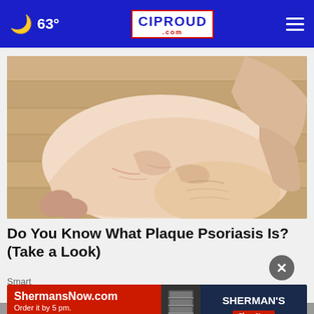🌙 63° | CIProud.com
[Figure (photo): Close-up photo of a human foot and heel showing dry, flaky skin consistent with plaque psoriasis, held by a hand, on a light wood floor background.]
Do You Know What Plaque Psoriasis Is? (Take a Look)
Smart
[Figure (infographic): Advertisement banner for ShermansNow.com: red left panel with text 'ShermansNow.com Order it by 5 pm. Get it 2-Mar-OH!', center panel showing shelving unit graphic, right dark blue panel with SHERMAN'S logo and Shop Now button.]